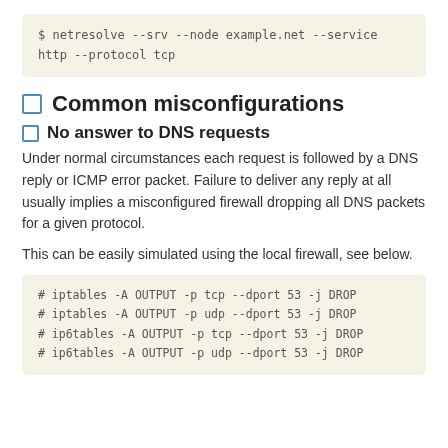$ netresolve --srv --node example.net --service
http --protocol tcp
Common misconfigurations
No answer to DNS requests
Under normal circumstances each request is followed by a DNS reply or ICMP error packet. Failure to deliver any reply at all usually implies a misconfigured firewall dropping all DNS packets for a given protocol.
This can be easily simulated using the local firewall, see below.
# iptables -A OUTPUT -p tcp --dport 53 -j DROP
# iptables -A OUTPUT -p udp --dport 53 -j DROP
# ip6tables -A OUTPUT -p tcp --dport 53 -j DROP
# ip6tables -A OUTPUT -p udp --dport 53 -j DROP